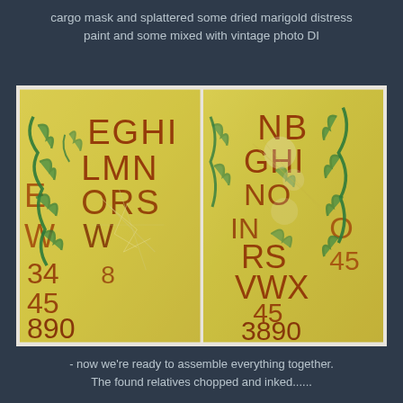cargo mask and splattered some dried marigold distress paint and some mixed with vintage photo DI
[Figure (photo): Two side-by-side mixed media art panels on yellow-green background featuring overlapping stenciled alphabet letters and numbers in red/brown tones with green floral flourish patterns, distress paint effects and crackled texture.]
- now we're ready to assemble everything together. The found relatives chopped and inked......